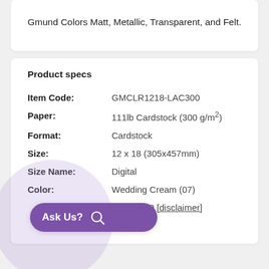Gmund Colors Matt, Metallic, Transparent, and Felt.
Product specs
| Attribute | Value |
| --- | --- |
| Item Code: | GMCLR1218-LAC300 |
| Paper: | 111lb Cardstock (300 g/m²) |
| Format: | Cardstock |
| Size: | 12 x 18 (305x457mm) |
| Size Name: | Digital |
| Color: | Wedding Cream (07) |
|  | 0 / 1 / 1 / 0 [disclaimer] |
|  | Matte |